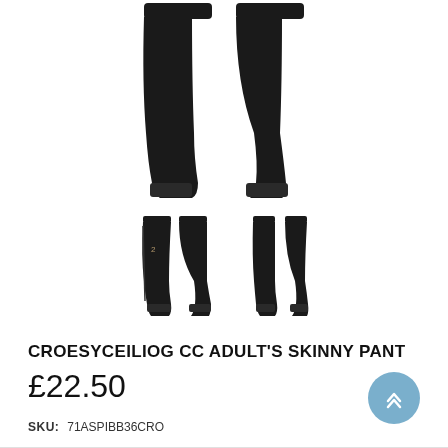[Figure (illustration): Main product image showing a pair of black skinny pants from the front (two legs), with slight knee detail, on a white background.]
[Figure (illustration): Two smaller thumbnail images of the same black skinny pants product — front view with logo detail and back/side view — shown below the main image.]
CROESYCEILIOG CC ADULT'S SKINNY PANT
£22.50
SKU: 71ASPIBB36CRO